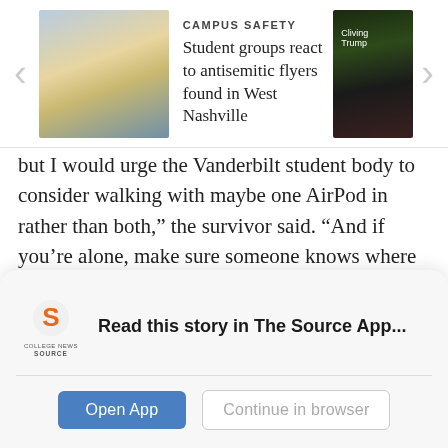[Figure (screenshot): Campus Safety navigation banner with left and right thumbnail images and article headline 'Student groups react to antisemitic flyers found in West Nashville' under category 'CAMPUS SAFETY']
but I would urge the Vanderbilt student body to consider walking with maybe one AirPod in rather than both," the survivor said. "And if you're alone, make sure someone knows where you are."
Vanderbilt students have not received a formal security notice from the university regarding the March 14 incident, which the survivor said she found concerning. The university and VUPD did not respond to The Hustler's requests for comment on the incident and lack of email
[Figure (logo): College News Source logo with orange S icon and text 'COLLEGE NEWS SOURCE']
Read this story in The Source App...
Open App
Continue in browser